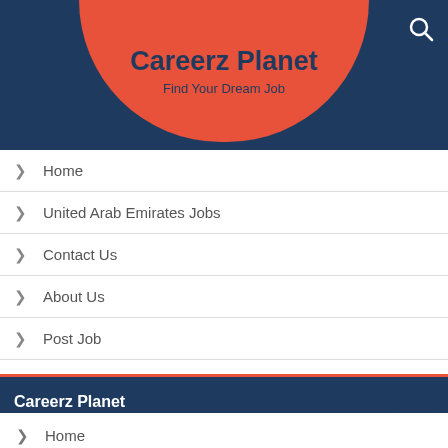Careerz Planet
Find Your Dream Job
Home
United Arab Emirates Jobs
Contact Us
About Us
Post Job
Careerz Planet
Home
United Arab Emirates Jobs
Contact Us